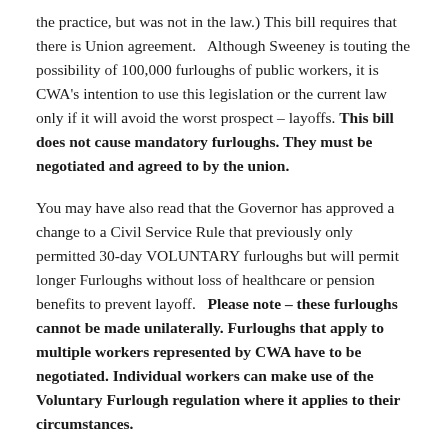the practice, but was not in the law.) This bill requires that there is Union agreement.   Although Sweeney is touting the possibility of 100,000 furloughs of public workers, it is CWA's intention to use this legislation or the current law only if it will avoid the worst prospect – layoffs. This bill does not cause mandatory furloughs. They must be negotiated and agreed to by the union.
You may have also read that the Governor has approved a change to a Civil Service Rule that previously only permitted 30-day VOLUNTARY furloughs but will permit longer Furloughs without loss of healthcare or pension benefits to prevent layoff.   Please note – these furloughs cannot be made unilaterally. Furloughs that apply to multiple workers represented by CWA have to be negotiated. Individual workers can make use of the Voluntary Furlough regulation where it applies to their circumstances.